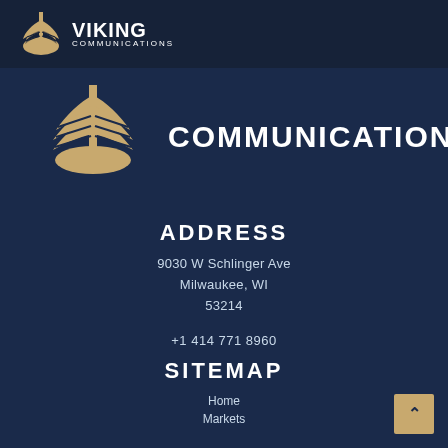[Figure (logo): Viking Communications logo — small version in top header bar, showing a gold Viking ship bow emblem with white 'VIKING' text and 'COMMUNICATIONS' subtext]
[Figure (logo): Viking Communications large logo — gold Viking ship bow/wing emblem with white bold 'COMMUNICATIONS' text to the right]
ADDRESS
9030 W Schlinger Ave
Milwaukee, WI
53214
+1 414 771 8960
SITEMAP
Home
Markets